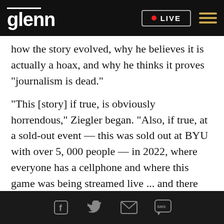glenn • LIVE
how the story evolved, why he believes it is actually a hoax, and why he thinks it proves "journalism is dead."
"This [story] if true, is obviously horrendous," Ziegler began. "Also, if true, at a sold-out event — this was sold out at BYU with over 5, 000 people — in 2022, where everyone has a cellphone and where this game was being streamed live ... and there [was] no video evidence of it. None. I mean this is impossible. It is absolutely impossible that in this day and age there would be no witnesses, no video, no
Social media icons: Facebook, Twitter, Email, SMS